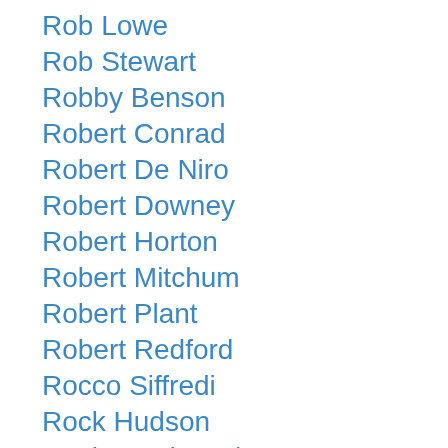Rob Lowe
Rob Stewart
Robby Benson
Robert Conrad
Robert De Niro
Robert Downey
Robert Horton
Robert Mitchum
Robert Plant
Robert Redford
Rocco Siffredi
Rock Hudson
Rockmond Dunbar
Rod Taylor
Roger Moore